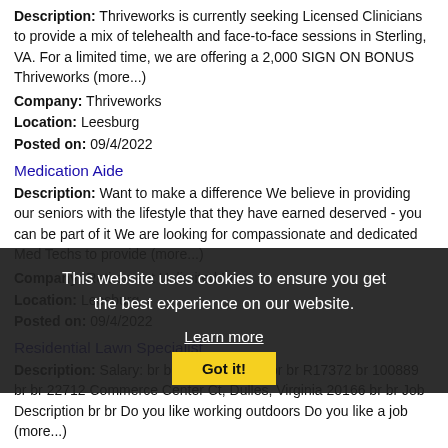Description: Thriveworks is currently seeking Licensed Clinicians to provide a mix of telehealth and face-to-face sessions in Sterling, VA. For a limited time, we are offering a 2,000 SIGN ON BONUS Thriveworks (more...)
Company: Thriveworks
Location: Leesburg
Posted on: 09/4/2022
Medication Aide
Description: Want to make a difference We believe in providing our seniors with the lifestyle that they have earned deserved - you can be part of it We are looking for compassionate and dedicated Med Techs to provide (more...)
Company: Retirement Unlimited Inc
Location: Leesburg
Posted on: 09/4/2022
Residential Lawn Specialist
Description: Salary: br br 20.00 an hour br br R17372 br 100889 br br 22712 Commerce Center Ct, Dulles, Virginia 20166 br br Job Description br br Do you like working outdoors Do you like a job (more...)
Company: TruGreen
Location: Leesburg
This website uses cookies to ensure you get the best experience on our website. Learn more Got it!